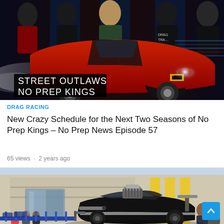[Figure (photo): Street Outlaws No Prep Kings promotional image showing a red Chevrolet Camaro drag car with cast members in the background and the show logo in the bottom left]
DRAG RACING
New Crazy Schedule for the Next Two Seasons of No Prep Kings – No Prep News Episode 57
65 views · 2 years ago
[Figure (photo): Black drag racing car (doorslammer/nostalgia style) at a drag strip pit area with spectators and a building in the background]